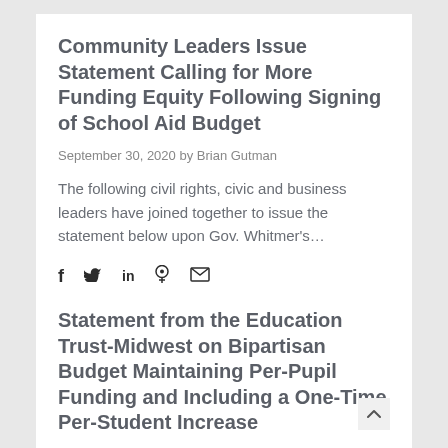Community Leaders Issue Statement Calling for More Funding Equity Following Signing of School Aid Budget
September 30, 2020 by Brian Gutman
The following civil rights, civic and business leaders have joined together to issue the statement below upon Gov. Whitmer's…
[Figure (infographic): Social sharing icons: Facebook (f), Twitter (bird), LinkedIn (in), Pinterest (pin), Email (envelope)]
Statement from the Education Trust-Midwest on Bipartisan Budget Maintaining Per-Pupil Funding and Including a One-Time Per-Student Increase